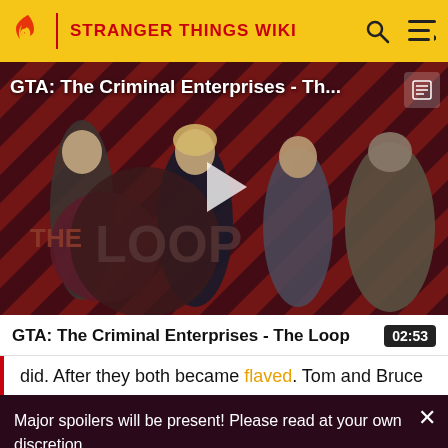STRANGER THINGS WIKI
[Figure (screenshot): Video thumbnail for GTA: The Criminal Enterprises - The Loop, showing 4 video game characters on a red diagonal striped background with a play button overlay and 'THE LOOP' logo in the lower left]
GTA: The Criminal Enterprises - The Loop
did. After they both became flaved. Tom and Bruce
Major spoilers will be present! Please read at your own discretion.